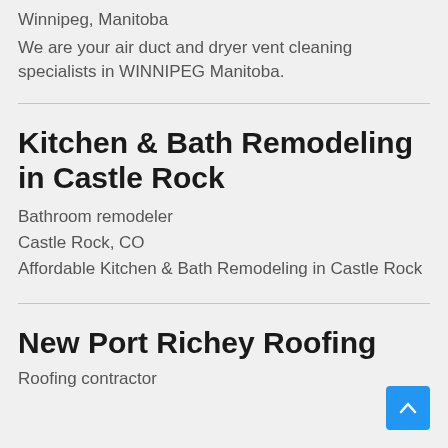Winnipeg, Manitoba
We are your air duct and dryer vent cleaning specialists in WINNIPEG Manitoba.
Kitchen & Bath Remodeling in Castle Rock
Bathroom remodeler
Castle Rock, CO
Affordable Kitchen & Bath Remodeling in Castle Rock
New Port Richey Roofing
Roofing contractor